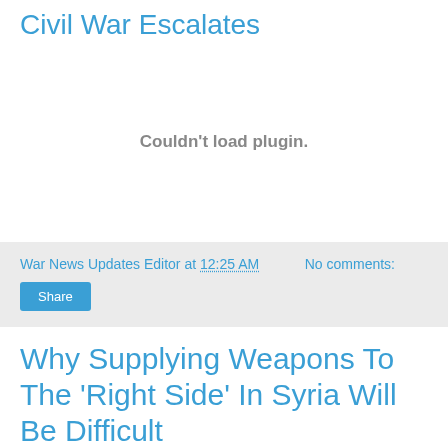Civil War Escalates
[Figure (other): Embedded plugin area showing 'Couldn't load plugin.' error message]
War News Updates Editor at 12:25 AM    No comments:
Share
Why Supplying Weapons To The 'Right Side' In Syria Will Be Difficult